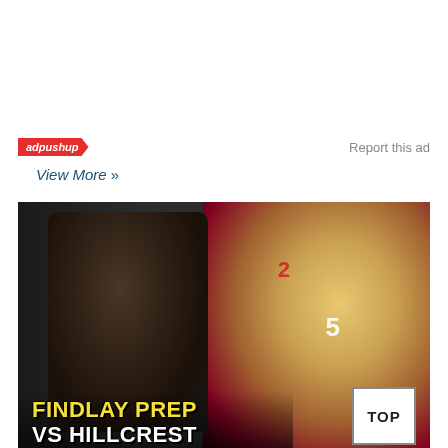[Figure (other): adpushup ad banner label with red chevron badge and 'Report this ad' text]
View More »
[Figure (photo): Basketball game thumbnail showing close-up of player in black jersey on left, game action on right with player numbers 2 and 5. Text overlay reads 'FINDLAY PREP VS HILLCREST' with a TOP button in bottom right corner.]